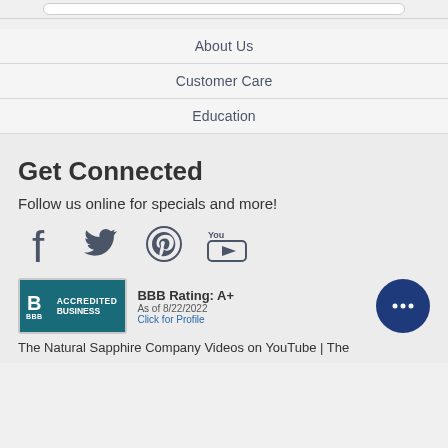About Us
Customer Care
Education
Get Connected
Follow us online for specials and more!
[Figure (illustration): Social media icons: Facebook, Twitter, Pinterest, YouTube]
[Figure (logo): BBB Accredited Business badge with rating A+ as of 8/22/2022, Click for Profile]
The Natural Sapphire Company Videos on YouTube | The